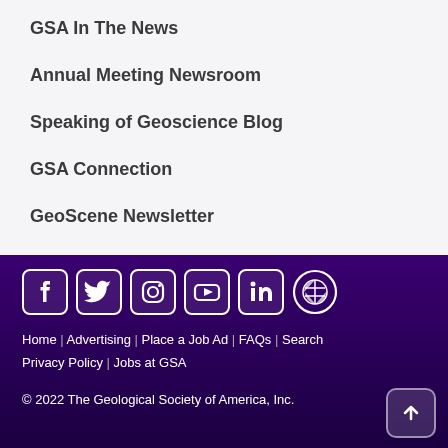GSA In The News
Annual Meeting Newsroom
Speaking of Geoscience Blog
GSA Connection
GeoScene Newsletter
[Figure (infographic): Social media icons: Facebook, Twitter, Instagram, YouTube, LinkedIn, WordPress on purple background]
Home | Advertising | Place a Job Ad | FAQs | Search | Privacy Policy | Jobs at GSA
© 2022 The Geological Society of America, Inc.